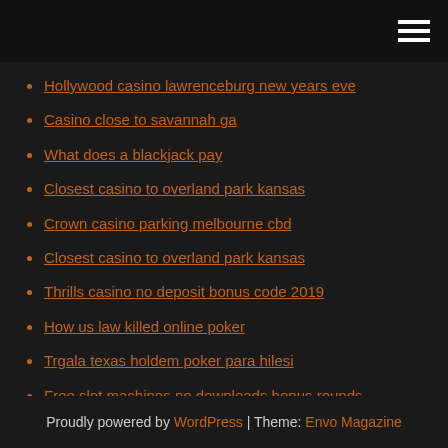[hamburger menu icon]
Hollywood casino lawrenceburg new years eve
Casino close to savannah ga
What does a blackjack pay
Closest casino to overland park kansas
Crown casino parking melbourne cbd
Closest casino to overland park kansas
Thrills casino no deposit bonus code 2019
How us law killed online poker
Trgala texas holdem poker para hilesi
Free slot machines no downloads bonus rounds
Wheel of fortune game puzzel solver
Proudly powered by WordPress | Theme: Envo Magazine